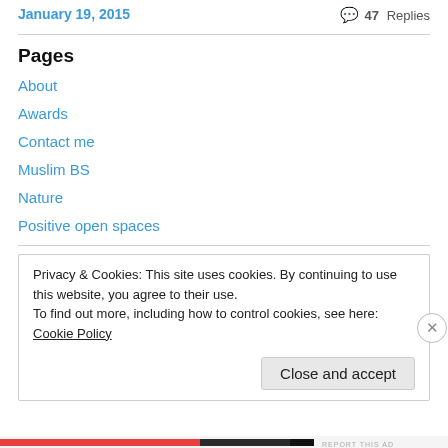January 19, 2015
47 Replies
Pages
About
Awards
Contact me
Muslim BS
Nature
Positive open spaces
Privacy & Cookies: This site uses cookies. By continuing to use this website, you agree to their use.
To find out more, including how to control cookies, see here: Cookie Policy
Close and accept